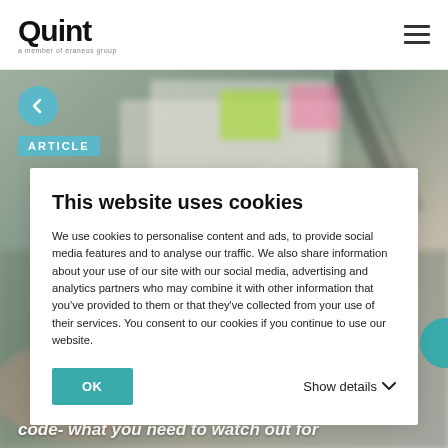Quint — a member of eraneos group
[Figure (screenshot): Hero background image of a desk with documents and hands, blurred]
[Figure (infographic): Teal circular back arrow button]
ARTICLE
This website uses cookies
We use cookies to personalise content and ads, to provide social media features and to analyse our traffic. We also share information about your use of our site with our social media, advertising and analytics partners who may combine it with other information that you've provided to them or that they've collected from your use of their services. You consent to our cookies if you continue to use our website.
OK
Show details
code- what you need to watch out for